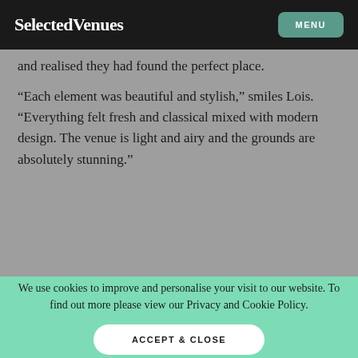SelectedVenues   MENU
and realised they had found the perfect place.
“Each element was beautiful and stylish,” smiles Lois. “Everything felt fresh and classical mixed with modern design. The venue is light and airy and the grounds are absolutely stunning.”
We use cookies to improve and personalise your visit to our website. To find out more please view our Privacy and Cookie Policy.
ACCEPT & CLOSE